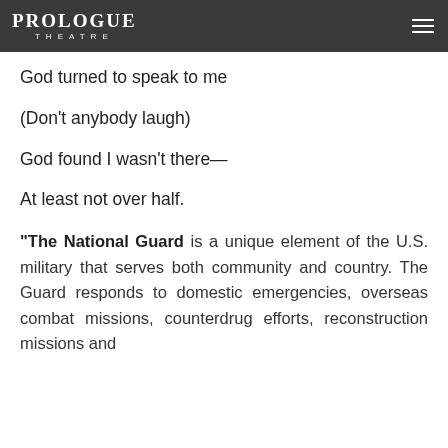PROLOGUE THEATRE
God turned to speak to me
(Don't anybody laugh)
God found I wasn't there—
At least not over half.
"The National Guard is a unique element of the U.S. military that serves both community and country. The Guard responds to domestic emergencies, overseas combat missions, counterdrug efforts, reconstruction missions and